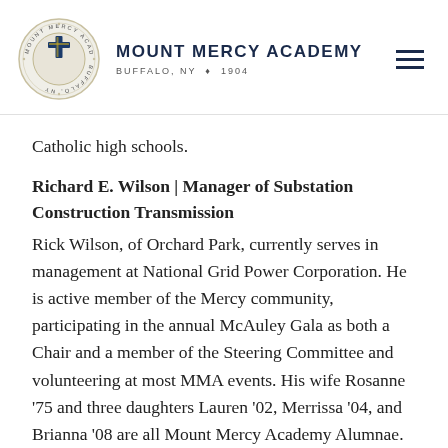MOUNT MERCY ACADEMY · BUFFALO, NY · 1904
Catholic high schools.
Richard E. Wilson | Manager of Substation Construction Transmission
Rick Wilson, of Orchard Park, currently serves in management at National Grid Power Corporation. He is active member of the Mercy community, participating in the annual McAuley Gala as both a Chair and a member of the Steering Committee and volunteering at most MMA events. His wife Rosanne '75 and three daughters Lauren '02, Merrissa '04, and Brianna '08 are all Mount Mercy Academy Alumnae.